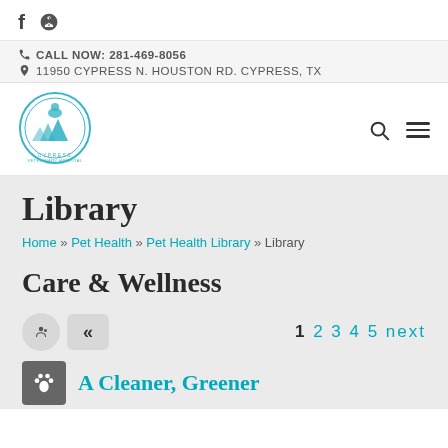f [facebook icon] [yelp icon]
CALL NOW: 281-469-8056
11950 CYPRESS N. HOUSTON RD. CYPRESS, TX
[Figure (logo): Cypress Veterinary Hospital circular logo with animals and trees]
Library
Home » Pet Health » Pet Health Library » Library
Care & Wellness
1 2 3 4 5 next
A Cleaner, Greener